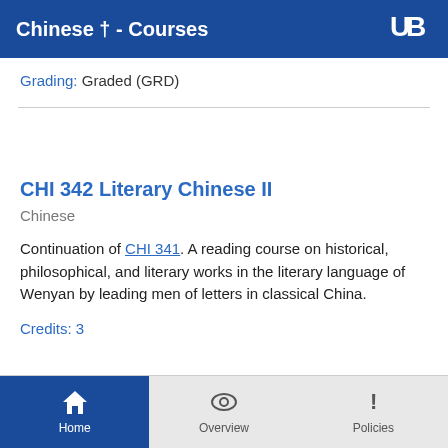Chinese † - Courses
Grading: Graded (GRD)
CHI 342 Literary Chinese II
Chinese
Continuation of CHI 341. A reading course on historical, philosophical, and literary works in the literary language of Wenyan by leading men of letters in classical China.
Credits: 3